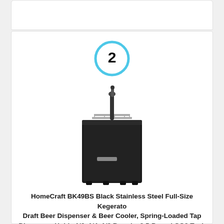[Figure (other): Ranking badge: a circle with a light blue border containing the number 2 in black bold text]
[Figure (photo): Photo of a HomeCraft BK49BS black stainless steel full-size kegerator beer dispenser with a single tap on top and a door with a small silver handle]
HomeCraft BK49BS Black Stainless Steel Full-Size Kegerator Draft Beer Dispenser & Beer Cooler, Spring-Loaded Tap Dispenser, Holds 1/6, 1/4, 1/2 Barrels, 2.5-Pound CO2 Tank, Single Meter Regulator